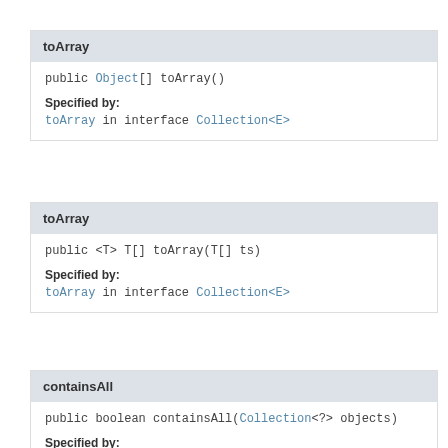toArray
public Object[] toArray()
Specified by:
toArray in interface Collection<E>
toArray
public <T> T[] toArray(T[] ts)
Specified by:
toArray in interface Collection<E>
containsAll
public boolean containsAll(Collection<?> objects)
Specified by: